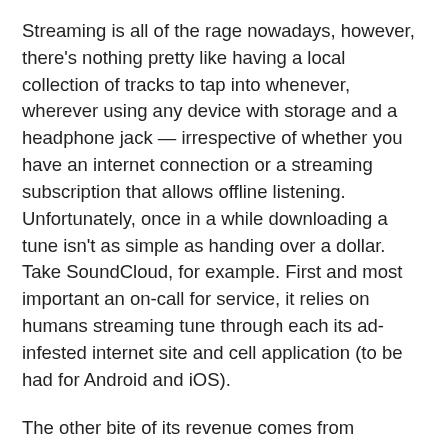Streaming is all of the rage nowadays, however, there's nothing pretty like having a local collection of tracks to tap into whenever, wherever using any device with storage and a headphone jack — irrespective of whether you have an internet connection or a streaming subscription that allows offline listening. Unfortunately, once in a while downloading a tune isn't as simple as handing over a dollar. Take SoundCloud, for example. First and most important an on-call for service, it relies on humans streaming tune through each its ad-infested internet site and cell application (to be had for Android and iOS).
The other bite of its revenue comes from individuals who enroll in its $12 in line with month Unlimited club to pay attention with out being interrupted by using an ad and for offline access via its mobile client. But let's face it: That's a lousy lot to shell out to keep a tune the artist is presenting to its enthusiasts for free.
So, how precisely do you download songs from SoundCloud? Well, there are many ways with one of the small. Download to...